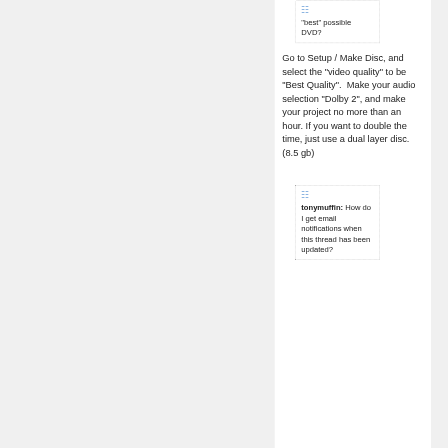"best" possible DVD?
Go to Setup / Make Disc, and select the "video quality" to be "Best Quality".  Make your audio selection "Dolby 2", and make your project no more than an hour. If you want to double the time, just use a dual layer disc. (8.5 gb)
tonymuffin: How do I get email notifications when this thread has been updated?